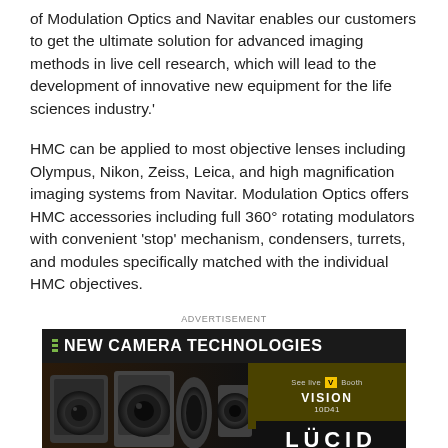of Modulation Optics and Navitar enables our customers to get the ultimate solution for advanced imaging methods in live cell research, which will lead to the development of innovative new equipment for the life sciences industry.'
HMC can be applied to most objective lenses including Olympus, Nikon, Zeiss, Leica, and high magnification imaging systems from Navitar. Modulation Optics offers HMC accessories including full 360° rotating modulators with convenient 'stop' mechanism, condensers, turrets, and modules specifically matched with the individual HMC objectives.
ADVERTISEMENT
[Figure (photo): Advertisement for Lucid Vision Labs showing new camera technologies with images of industrial cameras on a dark background. Text reads 'NEW CAMERA TECHNOLOGIES', 'See live demos at VISION Booth 10D41', and 'LUCID VISION LABS'.]